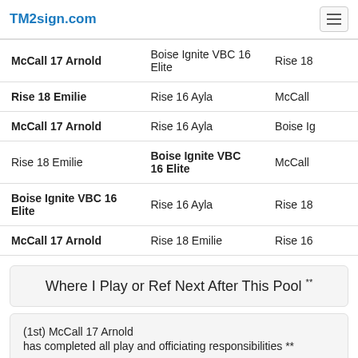TM2sign.com
| Team 1 | Team 2 | Team 3 |
| --- | --- | --- |
| McCall 17 Arnold | Boise Ignite VBC 16 Elite | Rise 18… |
| Rise 18 Emilie | Rise 16 Ayla | McCall… |
| McCall 17 Arnold | Rise 16 Ayla | Boise Ig… |
| Rise 18 Emilie | Boise Ignite VBC 16 Elite | McCall… |
| Boise Ignite VBC 16 Elite | Rise 16 Ayla | Rise 18… |
| McCall 17 Arnold | Rise 18 Emilie | Rise 16… |
Where I Play or Ref Next After This Pool **
(1st) McCall 17 Arnold
has completed all play and officiating responsibilities **